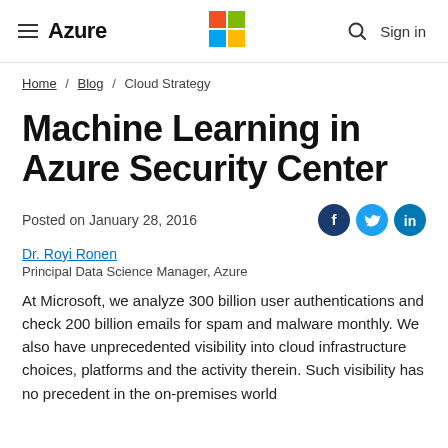Azure | Microsoft logo | Sign in
Home / Blog / Cloud Strategy
Machine Learning in Azure Security Center
Posted on January 28, 2016
Dr. Royi Ronen
Principal Data Science Manager, Azure
At Microsoft, we analyze 300 billion user authentications and check 200 billion emails for spam and malware monthly. We also have unprecedented visibility into cloud infrastructure choices, platforms and the activity therein. Such visibility has no precedent in the on-premises world